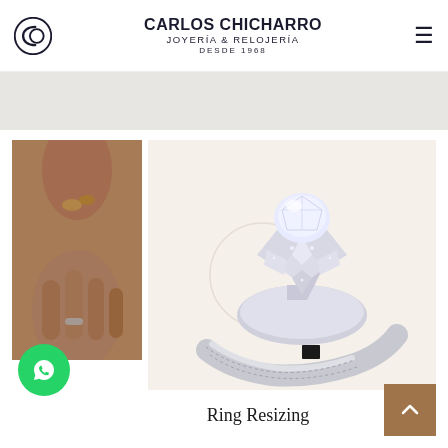Carlos Chicharro — Joyería & Relojería — Desde 1968
[Figure (photo): Close-up of a woman's hand touching her necklace, with a simple ring visible on her finger.]
[Figure (photo): Elaborate diamond and white gold flower-shaped engagement ring on a cream background.]
Ring Resizing